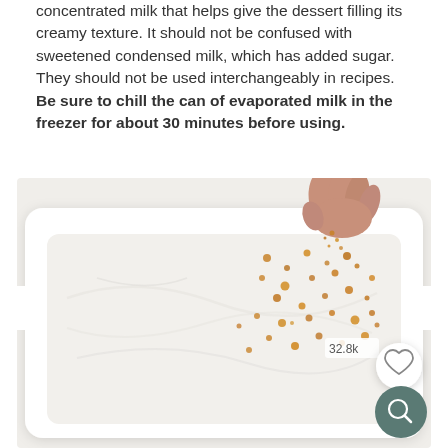concentrated milk that helps give the dessert filling its creamy texture. It should not be confused with sweetened condensed milk, which has added sugar. They should not be used interchangeably in recipes. Be sure to chill the can of evaporated milk in the freezer for about 30 minutes before using.
[Figure (photo): A hand sprinkling golden crumbs onto a white rectangular baking dish filled with smooth white cream/whipped filling. The dish has handles on each side. A heart/save icon (32.8k saves) and a search/zoom icon are overlaid on the bottom right of the image.]